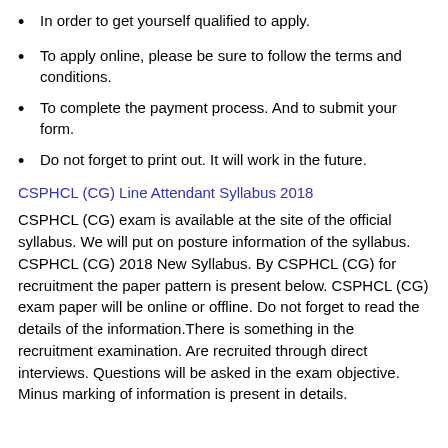In order to get yourself qualified to apply.
To apply online, please be sure to follow the terms and conditions.
To complete the payment process. And to submit your form.
Do not forget to print out. It will work in the future.
CSPHCL (CG) Line Attendant Syllabus 2018
CSPHCL (CG) exam is available at the site of the official syllabus. We will put on posture information of the syllabus. CSPHCL (CG) 2018 New Syllabus. By CSPHCL (CG) for recruitment the paper pattern is present below. CSPHCL (CG) exam paper will be online or offline. Do not forget to read the details of the information.There is something in the recruitment examination. Are recruited through direct interviews. Questions will be asked in the exam objective. Minus marking of information is present in details.